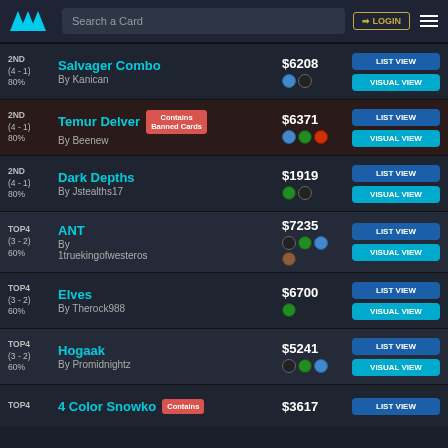Search a Card | LOGIN
2ND (4-1) 80% | Salvager Combo | By Kanican | $6208 | LIST VIEW | VISUAL VIEW
2ND (4-1) 80% | Temur Delver | Contains Banned Cards | By Beenew | $6371 | LIST VIEW | VISUAL VIEW
2ND (4-1) 80% | Dark Depths | By Jstealths17 | $1919 | LIST VIEW | VISUAL VIEW
TOP4 (3-2) 60% | ANT | By 1truekingofwesteros | $7235 | LIST VIEW | VISUAL VIEW
TOP4 (3-2) 60% | Elves | By Therock988 | $6700 | LIST VIEW | VISUAL VIEW
TOP4 (3-2) 60% | Hogaak | By Promidnightz | $5241 | LIST VIEW | VISUAL VIEW
TOP4 | 4 Color Snowko | Contains | $3617 | LIST VIEW